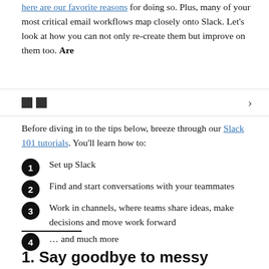here are our favorite reasons for doing so. Plus, many of your most critical email workflows map closely onto Slack. Let's look at how you can not only re-create them but improve on them too. Are
[Figure (other): Carousel navigation element with two black squares and a right arrow chevron]
Before diving in to the tips below, breeze through our Slack 101 tutorials. You'll learn how to:
Set up Slack
Find and start conversations with your teammates
Work in channels, where teams share ideas, make decisions and move work forward
… and much more
1.  Say goodbye to messy